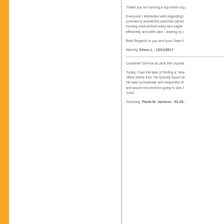Thank you for running a top-notch org...
Everyone I interacted with regarding t... provided a wonderful customer servic... moving crew arrived early and eager ... efficiently, and with care - leaving no r...
Best Regards to you and your Team f...
Warmly, Eileen L - 12/21/2017
Customer Service at Jack the Liquida...
Today, I had the task of finding a "new... office stress free. He Quickly found se... He was considerate and respectful of... and would recommend going to see J... Josh!
Sincerely, Paula M. Jackson - 02-28-...